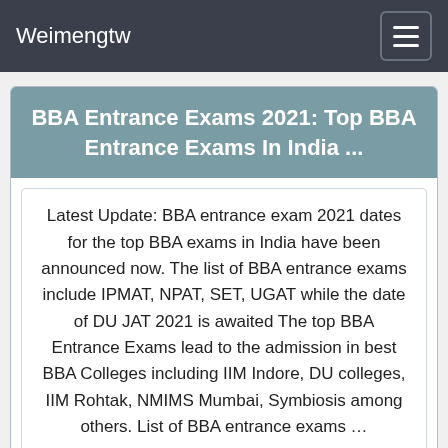Weimengtw
BBA Entrance Exams 2021: Top BBA Entrance Exams In India ...
Latest Update: BBA entrance exam 2021 dates for the top BBA exams in India have been announced now. The list of BBA entrance exams include IPMAT, NPAT, SET, UGAT while the date of DU JAT 2021 is awaited The top BBA Entrance Exams lead to the admission in best BBA Colleges including IIM Indore, DU colleges, IIM Rohtak, NMIMS Mumbai, Symbiosis among others. List of BBA entrance exams …